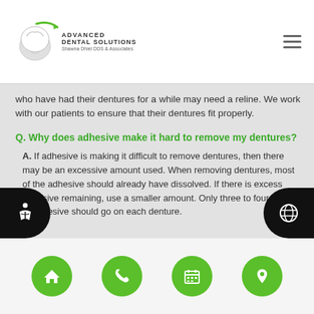[Figure (logo): Advanced Dental Solutions logo with tooth graphic and green swoosh, Shawna Dhiel DDS & Associates]
who have had their dentures for a while may need a reline. We work with our patients to ensure that their dentures fit properly.
Q. Why does adhesive make it hard to remove my dentures?
A. If adhesive is making it difficult to remove dentures, then there may be an excessive amount used. When removing dentures, most of the adhesive should already have dissolved. If there is excess adhesive remaining, use a smaller amount. Only three to four dabs of adhesive should go on each denture.